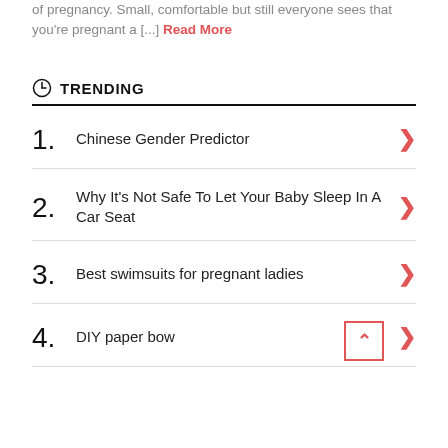of pregnancy. Small, comfortable but still everyone sees that you're pregnant a [...] Read More
TRENDING
1. Chinese Gender Predictor
2. Why It's Not Safe To Let Your Baby Sleep In A Car Seat
3. Best swimsuits for pregnant ladies
4. DIY paper bow